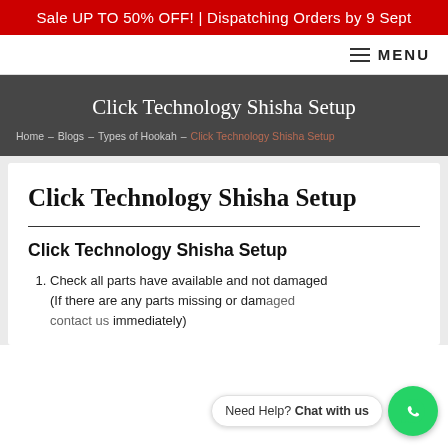Sale UP TO 50% OFF! | Dispatching Orders by 9 Sept
≡ MENU
Click Technology Shisha Setup
Home – Blogs – Types of Hookah – Click Technology Shisha Setup
Click Technology Shisha Setup
Click Technology Shisha Setup
Check all parts have available and not damaged (If there are any parts missing or damaged contact us immediately)